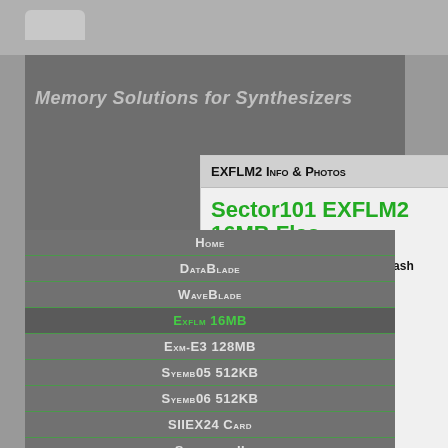Memory Solutions for Synthesizers
EXFLM2 Info & Photos
Sector101 EXFLM2 16MB Flas
The Sector101 EXFLM2 16MB Flash SIMM I
IN STOCK
Home
DataBlade
WaveBlade
Exflm 16MB
Exm-E3 128MB
Syemb05 512KB
Syemb06 512KB
SIIEX24 Card
Supernova II
Sr-Jv Romulator
Downloads